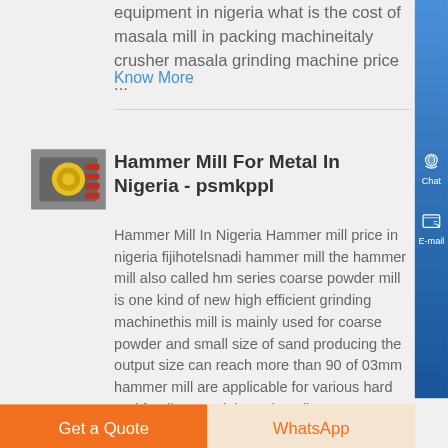equipment in nigeria what is the cost of masala mill in packing machineitaly crusher masala grinding machine price ...
Know More
[Figure (photo): Photo of a hammer mill or grinding machine component, showing a yellow disc and red machinery parts]
Hammer Mill For Metal In Nigeria - psmkppl
Hammer Mill In Nigeria Hammer mill price in nigeria fijihotelsnadi hammer mill the hammer mill also called hm series coarse powder mill is one kind of new high efficient grinding machinethis mill is mainly used for coarse powder and small size of sand producing the output size can reach more than 90 of 03mm hammer mill are applicable for various hard and fragile materials such as limestone ....
Get a Quote
WhatsApp